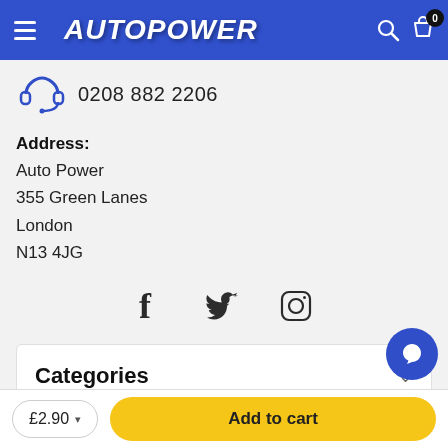AUTOPOWER
0208 882 2206
Address:
Auto Power
355 Green Lanes
London
N13 4JG
[Figure (illustration): Social media icons: Facebook, Twitter, Instagram]
Categories
Information
£2.90
Add to cart